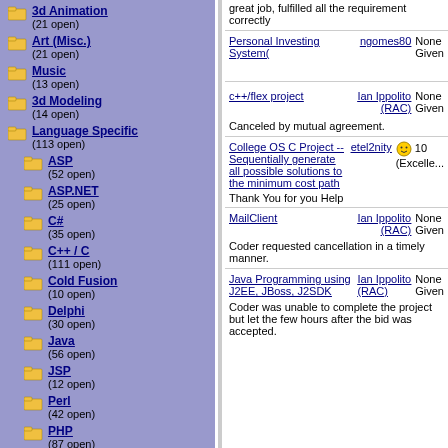3d Animation (21 open)
Art (Misc.) (21 open)
Music (13 open)
3d Modeling (14 open)
Language Specific (113 open)
ASP (52 open)
ASP.NET (25 open)
C# (35 open)
C++ / C (111 open)
Cold Fusion (10 open)
Delphi (30 open)
Java (56 open)
JSP (12 open)
Perl (42 open)
PHP (87 open)
XML/XSL (24 open)
great job, fulfilled all the requirement correctly
Personal Investing System( | ngomes80 | None Given
c++/flex project | Ian Ippolito (RAC) | None Given
Canceled by mutual agreement.
College OS C Project -- Sequentially generate all possible solutions to the minimum cost path | etel2nity | 10 (Excelle...
Thank You for you Help
MailClient | Ian Ippolito (RAC) | None Given
Coder requested cancellation in a timely manner.
Java Programming using J2EE, JBoss, J2SDK | Ian Ippolito (RAC) | None Given
Coder was unable to complete the project but let the few hours after the bid was accepted.